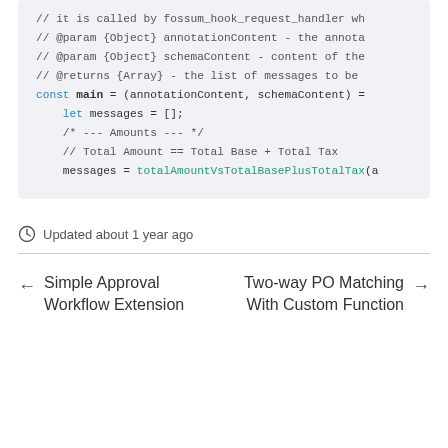// it is called by fossum_hook_request_handler wh
// @param {Object} annotationContent - the annota
// @param {Object} schemaContent - content of the
// @returns {Array} - the list of messages to be
const main = (annotationContent, schemaContent) =

    let messages = [];

    /* --- Amounts --- */

    // Total Amount == Total Base + Total Tax
    messages = totalAmountVsTotalBasePlusTotalTax(a
Updated about 1 year ago
Simple Approval Workflow Extension
Two-way PO Matching With Custom Function